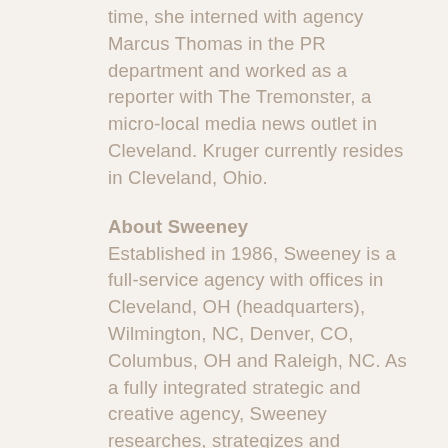time, she interned with agency Marcus Thomas in the PR department and worked as a reporter with The Tremonster, a micro-local media news outlet in Cleveland. Kruger currently resides in Cleveland, Ohio.
About Sweeney
Established in 1986, Sweeney is a full-service agency with offices in Cleveland, OH (headquarters), Wilmington, NC, Denver, CO, Columbus, OH and Raleigh, NC. As a fully integrated strategic and creative agency, Sweeney researches, strategizes and executes award-winning campaigns for a wide range of consumer, business and industrial clients – branding, graphic design, advertising and media, publicity and media relations, social media, blogger relations, crisis communications